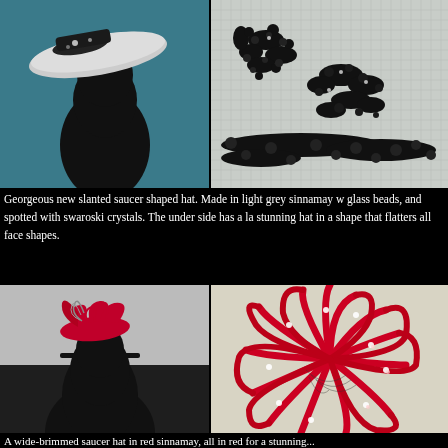[Figure (photo): Top-left: silhouette of mannequin head wearing a light grey slanted saucer shaped hat with black lace and bead decoration, against teal background]
[Figure (photo): Top-right: close-up of grey sinnamay hat fabric showing black lace applique with glass beads and swaroski crystals]
Georgeous new slanted saucer shaped hat. Made in light grey sinnamay w glass beads, and spotted with swaroski crystals. The under side has a la stunning hat in a shape that flatters all face shapes.
[Figure (photo): Bottom-left: silhouette of mannequin head wearing a red fascinator hat with ribbon loops and feather details on a headband]
[Figure (photo): Bottom-right: close-up of red fascinator with looped red sinnamay ribbons, birdcage veiling, and crystal/bead embellishments]
A wide-brimmed saucer hat in red sinnamay, all in red for a stunning...